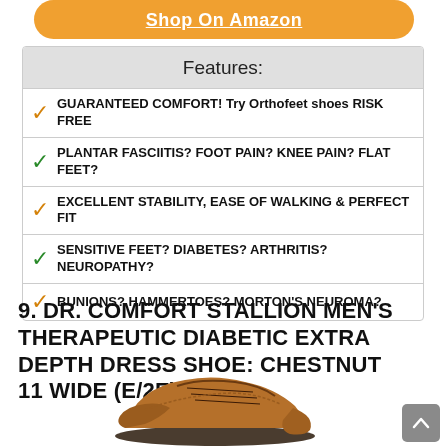Shop On Amazon
| Features: |
| --- |
| ✓ GUARANTEED COMFORT! Try Orthofeet shoes RISK FREE |
| ✓ PLANTAR FASCIITIS? FOOT PAIN? KNEE PAIN? FLAT FEET? |
| ✓ EXCELLENT STABILITY, EASE OF WALKING & PERFECT FIT |
| ✓ SENSITIVE FEET? DIABETES? ARTHRITIS? NEUROPATHY? |
| ✓ BUNIONS? HAMMERTOES? MORTON'S NEUROMA? |
9. DR. COMFORT STALLION MEN'S THERAPEUTIC DIABETIC EXTRA DEPTH DRESS SHOE: CHESTNUT 11 WIDE (E/2E)
[Figure (photo): Brown leather dress shoe, Dr. Comfort Stallion men's therapeutic diabetic extra depth dress shoe in chestnut]